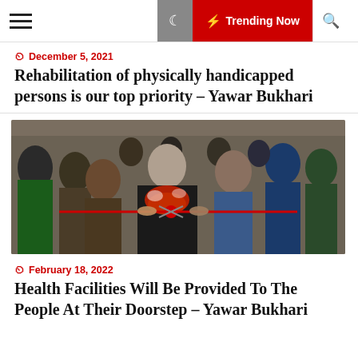≡  Trending Now 🔍
December 5, 2021
Rehabilitation of physically handicapped persons is our top priority – Yawar Bukhari
[Figure (photo): Group of men cutting a red ribbon at an inauguration ceremony; the central figure wears a floral garland.]
February 18, 2022
Health Facilities Will Be Provided To The People At Their Doorstep – Yawar Bukhari